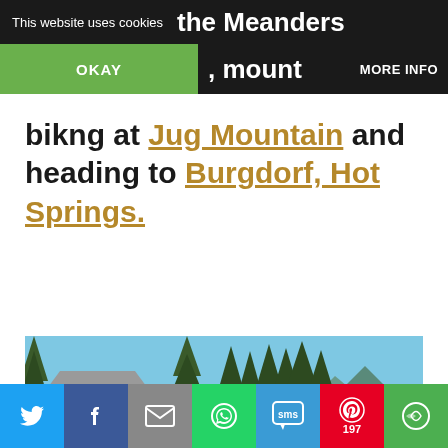This website uses cookies  the Meanders  , mount  MORE INFO
bikng at Jug Mountain and heading to Burgdorf, Hot Springs.
[Figure (photo): Outdoor rural scene with old wooden barn structures, a greenhouse, fences, tall evergreen trees, and a blue sky with mountains in the background.]
Twitter | Facebook | Email | WhatsApp | SMS | Pinterest 197 | More